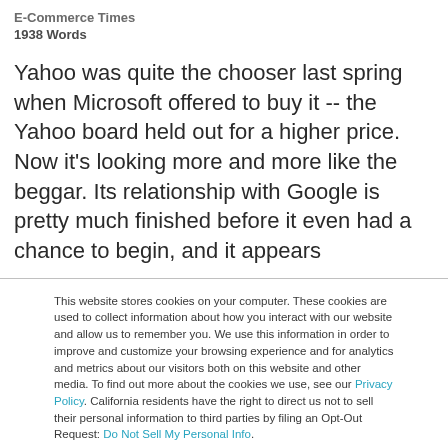E-Commerce Times
1938 Words
Yahoo was quite the chooser last spring when Microsoft offered to buy it -- the Yahoo board held out for a higher price. Now it's looking more and more like the beggar. Its relationship with Google is pretty much finished before it even had a chance to begin, and it appears
This website stores cookies on your computer. These cookies are used to collect information about how you interact with our website and allow us to remember you. We use this information in order to improve and customize your browsing experience and for analytics and metrics about our visitors both on this website and other media. To find out more about the cookies we use, see our Privacy Policy. California residents have the right to direct us not to sell their personal information to third parties by filing an Opt-Out Request: Do Not Sell My Personal Info.
Accept